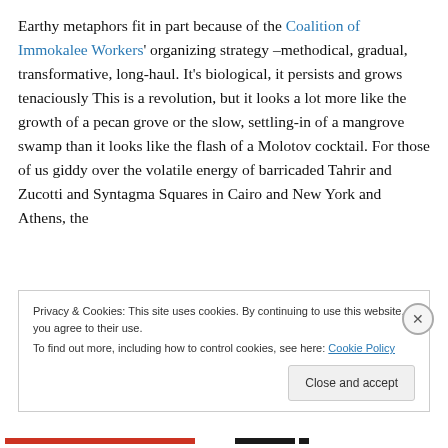Earthy metaphors fit in part because of the Coalition of Immokalee Workers' organizing strategy –methodical, gradual, transformative, long-haul. It's biological, it persists and grows tenaciously This is a revolution, but it looks a lot more like the growth of a pecan grove or the slow, settling-in of a mangrove swamp than it looks like the flash of a Molotov cocktail. For those of us giddy over the volatile energy of barricaded Tahrir and Zucotti and Syntagma Squares in Cairo and New York and Athens, the
Privacy & Cookies: This site uses cookies. By continuing to use this website, you agree to their use.
To find out more, including how to control cookies, see here: Cookie Policy
Close and accept